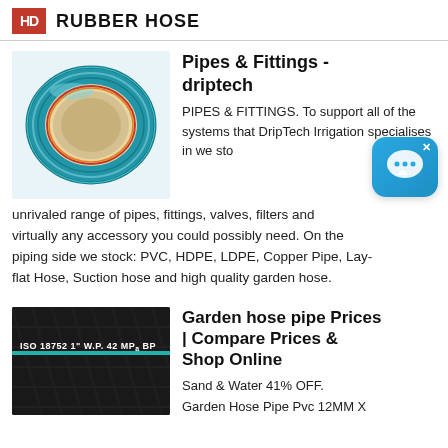HD RUBBER HOSE
[Figure (photo): Blue corrugated rubber hose shown from the open end, coiled, with visible inner bore]
Pipes & Fittings - driptech
PIPES & FITTINGS. To support all of the systems that DripTech Irrigation specialises in we stock unrivaled range of pipes, fittings, valves, filters and virtually any accessory you could possibly need. On the piping side we stock: PVC, HDPE, LDPE, Copper Pipe, Lay-flat Hose, Suction hose and high quality garden hose.
[Figure (photo): Black rubber hose with text ISO 18752 1' W.P. 42 MPa BP and a teal stripe]
Garden hose pipe Prices | Compare Prices & Shop Online
Sand & Water 41% OFF.
Garden Hose Pipe Pvc 12MM X